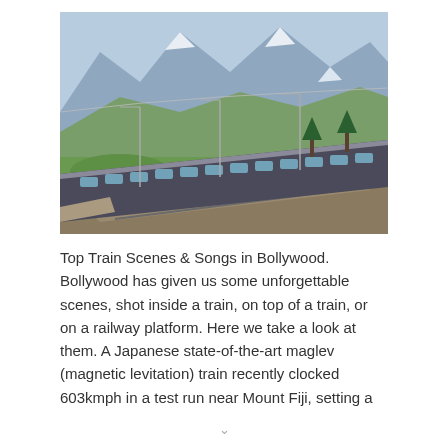[Figure (photo): A scenic photograph of a passenger train curving through a green alpine valley with mountains in the background.]
Top Train Scenes & Songs in Bollywood. Bollywood has given us some unforgettable scenes, shot inside a train, on top of a train, or on a railway platform. Here we take a look at them. A Japanese state-of-the-art maglev (magnetic levitation) train recently clocked 603kmph in a test run near Mount Fiji, setting a